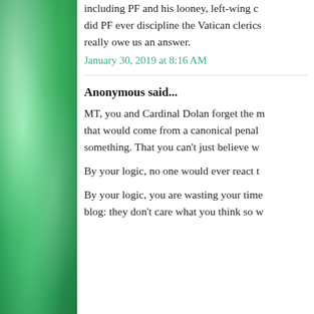including PF and his looney, left-wing c... did PF ever discipline the Vatican clerics... really owe us an answer.
January 30, 2019 at 8:16 AM
Anonymous said...
MT, you and Cardinal Dolan forget the r... that would come from a canonical penal... something. That you can't just believe w...
By your logic, no one would ever react t...
By your logic, you are wasting your time... blog: they don't care what you think so w...